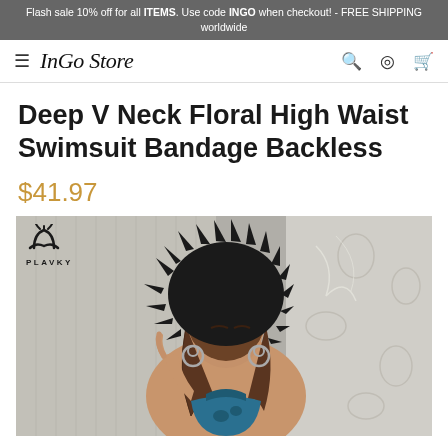Flash sale 10% off for all ITEMS. Use code INGO when checkout! - FREE SHIPPING worldwide
InGo Store
Deep V Neck Floral High Waist Swimsuit Bandage Backless
$41.97
[Figure (photo): Fashion model wearing a deep V neck floral swimsuit with a large black spiked headdress, long earrings, posing in front of a textured background with PLAVKY brand logo in the top left corner]